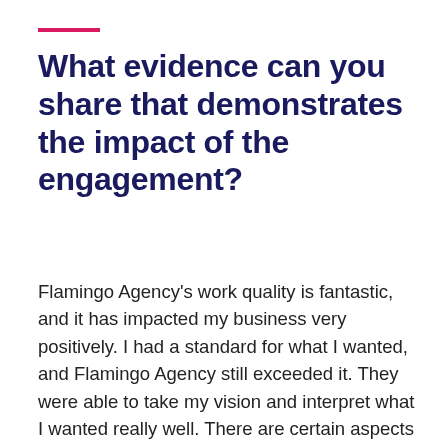What evidence can you share that demonstrates the impact of the engagement?
Flamingo Agency's work quality is fantastic, and it has impacted my business very positively. I had a standard for what I wanted, and Flamingo Agency still exceeded it. They were able to take my vision and interpret what I wanted really well. There are certain aspects of the site that I love through which Chris' creativity came shining. Overall, they've been an